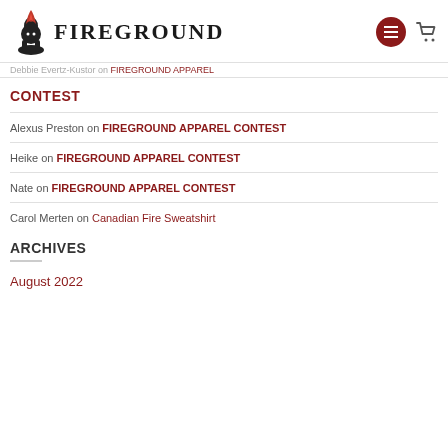FIREGROUND
Debbie Evertz-Kustor on FIREGROUND APPAREL
CONTEST
Alexus Preston on FIREGROUND APPAREL CONTEST
Heike on FIREGROUND APPAREL CONTEST
Nate on FIREGROUND APPAREL CONTEST
Carol Merten on Canadian Fire Sweatshirt
ARCHIVES
August 2022